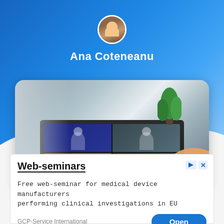[Figure (photo): Circular avatar photo of a woman]
Ana Coteneanu
[Figure (photo): Photo of a person at a desk using a laptop for a video conference with four participants visible on screen, holding a blue cup]
Web-seminars
Free web-seminar for medical device manufacturers performing clinical investigations in EU
GCP-Service International
Open